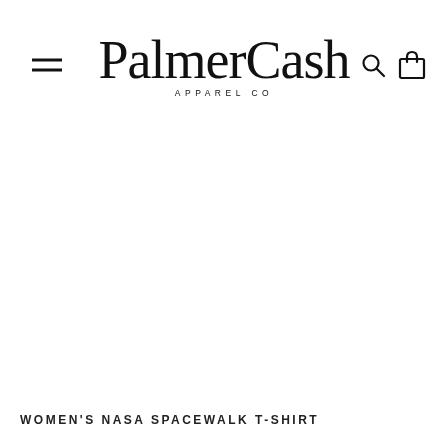PalmerCash Apparel Co
[Figure (photo): White/blank product image area for Women's NASA Spacewalk T-Shirt]
WOMEN'S NASA SPACEWALK T-SHIRT